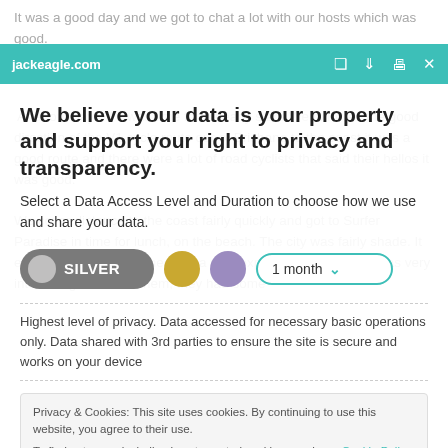It was a good day and we got to chat a lot with our hosts which was good.
jackeagle.com
We believe your data is your property and support your right to privacy and transparency.
Select a Data Access Level and Duration to choose how we use and share your data.
SILVER | 1 month
Highest level of privacy. Data accessed for necessary basic operations only. Data shared with 3rd parties to ensure the site is secure and works on your device
Privacy & Cookies: This site uses cookies. By continuing to use this website, you agree to their use. To find out more, including how to control cookies, see here: Cookie Policy
Save my preferences
Close and accept
Customize
Privacy policy
world and it was very interesting to chat to them, they had some